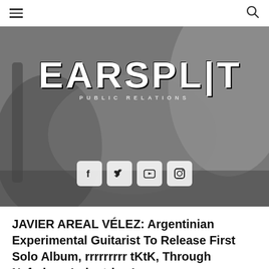Navigation menu and search
[Figure (screenshot): Earsplit Public Relations website banner with black-and-white photo of guitarist in background. Large bold white 'EARSPLIT' logo text with 'PUBLIC RELATIONS' subtitle. Four social media icons (Facebook, Twitter, YouTube, Instagram) displayed in white rounded squares below logo.]
JAVIER AREAL VÉLEZ: Argentinian Experimental Guitarist To Release First Solo Album, rrrrrrrrr tKtK, Through Nefarious Industries In